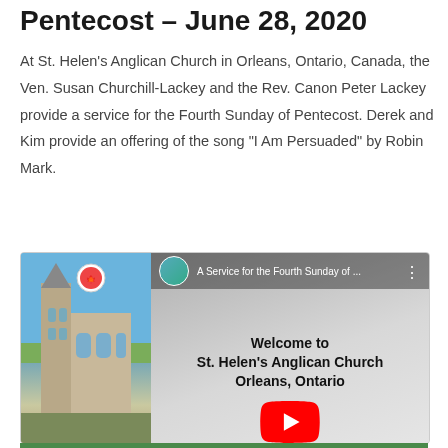Pentecost – June 28, 2020
At St. Helen's Anglican Church in Orleans, Ontario, Canada, the Ven. Susan Churchill-Lackey and the Rev. Canon Peter Lackey provide a service for the Fourth Sunday of Pentecost. Derek and Kim provide an offering of the song “I Am Persuaded” by Robin Mark.
[Figure (screenshot): YouTube video thumbnail for 'A Service for the Fourth Sunday of ...' at St. Helen's Anglican Church Orleans, Ontario. Left side shows a photo of a church building. Right side shows text 'Welcome to St. Helen's Anglican Church Orleans, Ontario' with a YouTube play button.]
Fourth Sunday of Pentecost
Happy Canada Day
Photo by Deb McIntyre